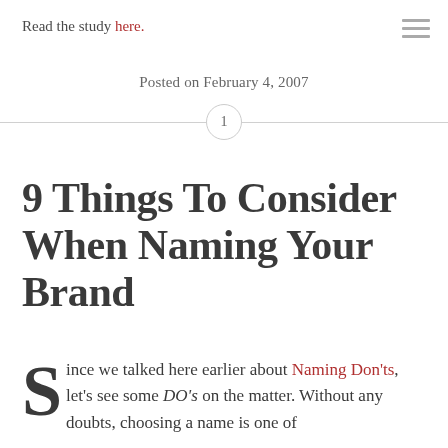Read the study here.
Posted on February 4, 2007
9 Things To Consider When Naming Your Brand
Since we talked here earlier about Naming Don'ts, let's see some DO's on the matter. Without any doubts, choosing a name is one of